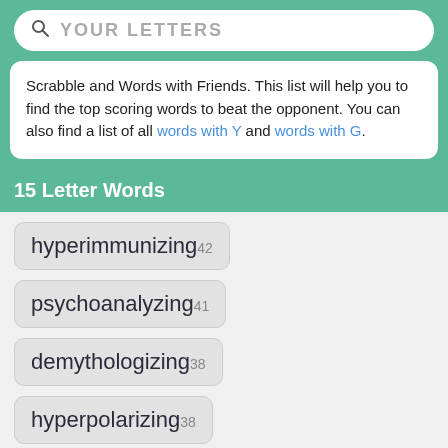[Figure (other): Search bar with magnifying glass icon and placeholder text YOUR LETTERS on green background]
Scrabble and Words with Friends. This list will help you to find the top scoring words to beat the opponent. You can also find a list of all words with Y and words with G.
15 Letter Words
hyperimmunizing 42
psychoanalyzing 41
demythologizing 38
hyperpolarizing 38